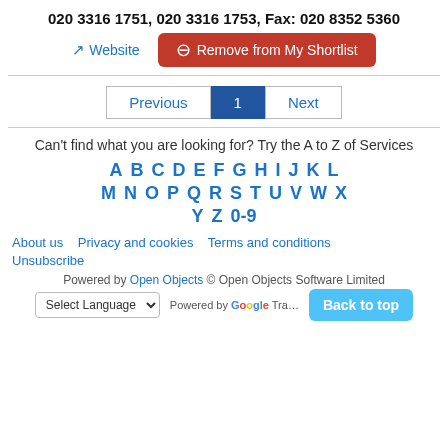020 3316 1751, 020 3316 1753, Fax: 020 8352 5360
Website | Remove from My Shortlist
Previous | 1 | Next
Can't find what you are looking for? Try the A to Z of Services
A B C D E F G H I J K L M N O P Q R S T U V W X Y Z 0-9
About us  Privacy and cookies  Terms and conditions  Unsubscribe
Powered by Open Objects © Open Objects Software Limited
Select Language  Powered by Google Translate  Back to top